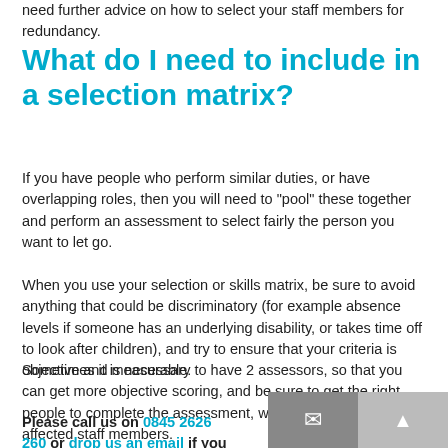need further advice on how to select your staff members for redundancy.
What do I need to include in a selection matrix?
If you have people who perform similar duties, or have overlapping roles, then you will need to “pool” these together and perform an assessment to select fairly the person you want to let go.
When you use your selection or skills matrix, be sure to avoid anything that could be discriminatory (for example absence levels if someone has an underlying disability, or takes time off to look after children), and try to ensure that your criteria is objective and measurable.
Sometimes it is necessary to have 2 assessors, so that you can get more objective scoring, and be sure to get the right people to complete the assessment, who work closely with the affected staff members.
Please call us on 0845 2626 260 or drop us an email if you need further advice on selection matrices or need an example